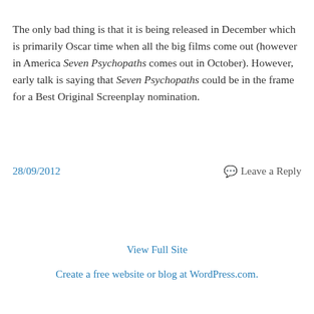The only bad thing is that it is being released in December which is primarily Oscar time when all the big films come out (however in America Seven Psychopaths comes out in October). However, early talk is saying that Seven Psychopaths could be in the frame for a Best Original Screenplay nomination.
28/09/2012
Leave a Reply
View Full Site
Create a free website or blog at WordPress.com.